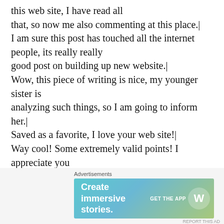this web site, I have read all that, so now me also commenting at this place.| I am sure this post has touched all the internet people, its really really good post on building up new website.| Wow, this piece of writing is nice, my younger sister is analyzing such things, so I am going to inform her.| Saved as a favorite, I love your web site!| Way cool! Some extremely valid points! I appreciate you
http://www.imago-d.org/?key=Michael+Kors+Logo+Small+Black+Crossb
[Figure (infographic): Advertisement banner for WordPress app saying 'Create immersive stories.' with GET THE APP button and WordPress logo]